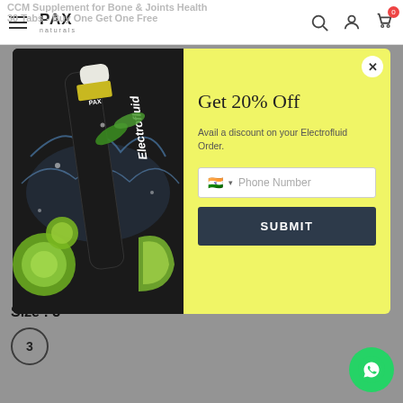CCM Supplement for Bone & Joints Health 30 Tabs - Buy One Get One Free
[Figure (screenshot): Website navigation bar with hamburger menu, PAX Naturals logo, search, profile and cart icons]
[Figure (photo): Modal popup with product image of Electrofluid effervescent tube with limes on dark background, and a yellow panel with 'Get 20% Off' offer, phone number input and submit button]
Get 20% Off
Avail a discount on your Electrofluid Order.
Phone Number
SUBMIT
Size : 3